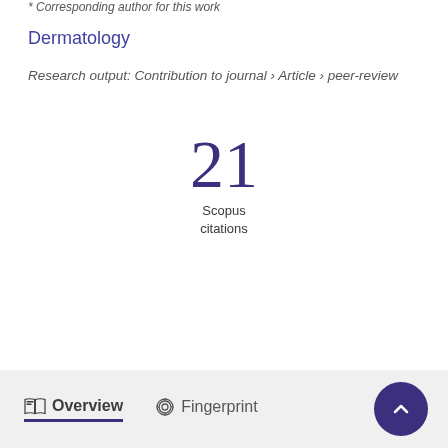* Corresponding author for this work
Dermatology
Research output: Contribution to journal › Article › peer-review
21
Scopus
citations
Overview   Fingerprint